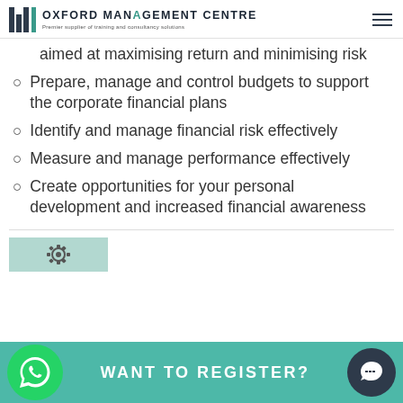OXFORD MANAGEMENT CENTRE - Premier supplier of training and consultancy solutions
aimed at maximising return and minimising risk
Prepare, manage and control budgets to support the corporate financial plans
Identify and manage financial risk effectively
Measure and manage performance effectively
Create opportunities for your personal development and increased financial awareness
[Figure (infographic): Teal background box with gear icon, part of a section break area]
WANT TO REGISTER?